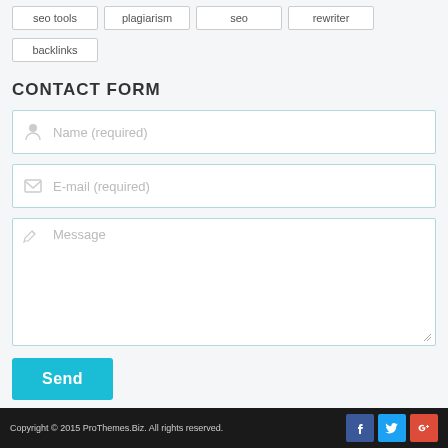seo tools
plagiarism
seo
rewriter
backlinks
CONTACT FORM
Name (required)
E-mail (required)
Message
Send
Copyright © 2015 ProThemes.Biz. All rights reserved.